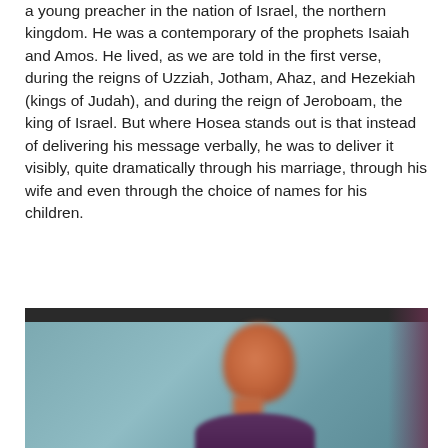a young preacher in the nation of Israel, the northern kingdom. He was a contemporary of the prophets Isaiah and Amos. He lived, as we are told in the first verse, during the reigns of Uzziah, Jotham, Ahaz, and Hezekiah (kings of Judah), and during the reign of Jeroboam, the king of Israel. But where Hosea stands out is that instead of delivering his message verbally, he was to deliver it visibly, quite dramatically through his marriage, through his wife and even through the choice of names for his children.
[Figure (photo): Blurred close-up photograph of a person, showing a head and shoulders against a blue-grey background, with a dark top bar. The face is partially visible, blurred, with warm reddish-brown tones.]